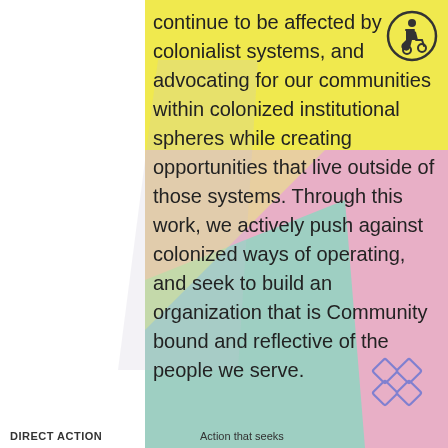continue to be affected by colonialist systems, and advocating for our communities within colonized institutional spheres while creating opportunities that live outside of those systems. Through this work, we actively push against colonized ways of operating, and seek to build an organization that is Community bound and reflective of the people we serve.
[Figure (illustration): Accessibility icon: person in wheelchair inside a circle outline]
[Figure (illustration): Four-diamond decorative icon in purple outline]
DIRECT ACTION   Action that seeks